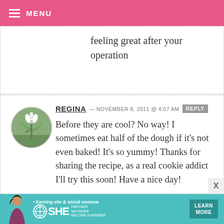MENU
feeling great after your operation
REGINA — NOVEMBER 8, 2011 @ 4:07 AM REPLY
Before they are cool? No way! I sometimes eat half of the dough if it’s not even baked! It’s so yummy! Thanks for sharing the recipe, as a real cookie addict I’ll try this soon! Have a nice day!

Regina
[Figure (other): Advertisement banner: SHE Partner Network - Earning site & social revenue. Learn More button.]